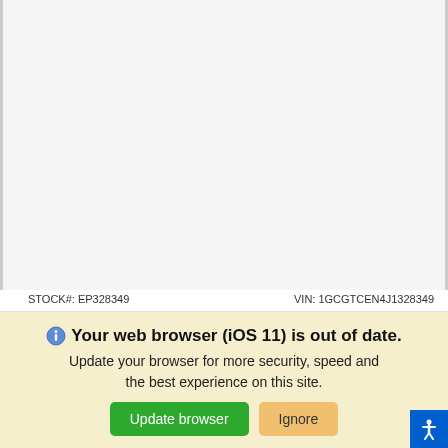[Figure (photo): Vehicle image placeholder area (white/light gray background, no image visible)]
STOCK#: EP328349
VIN: 1GCGTCEN4J1328349
Used 2018 Chevrolet Colorado 4WD
4WD LT Pickup Crew Cab Pickup Automatic
34,839 Miles
Call Us
*First Name
*Last Name
*Email
Your web browser (iOS 11) is out of date.
Update your browser for more security, speed and the best experience on this site.
Update browser  Ignore